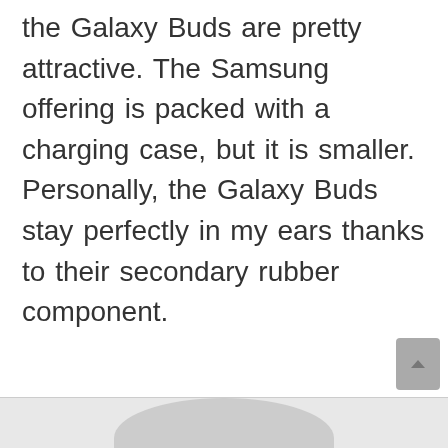the Galaxy Buds are pretty attractive. The Samsung offering is packed with a charging case, but it is smaller. Personally, the Galaxy Buds stay perfectly in my ears thanks to their secondary rubber component.